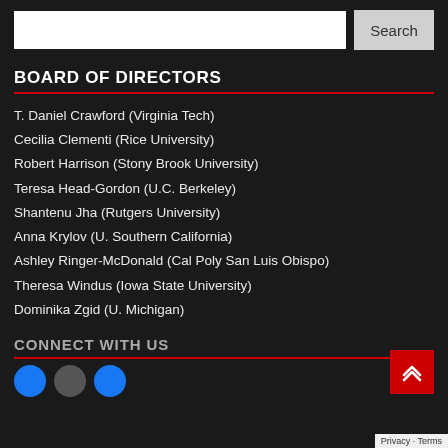BOARD OF DIRECTORS
T. Daniel Crawford (Virginia Tech)
Cecilia Clementi (Rice University)
Robert Harrison (Stony Brook University)
Teresa Head-Gordon (U.C. Berkeley)
Shantenu Jha (Rutgers University)
Anna Krylov (U. Southern California)
Ashley Ringer-McDonald (Cal Poly San Luis Obispo)
Theresa Windus (Iowa State University)
Dominika Zgid (U. Michigan)
CONNECT WITH US